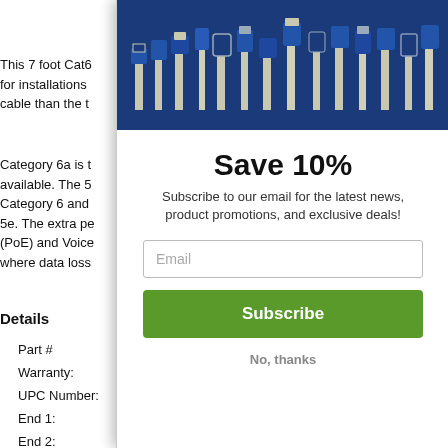Product Description
This 7 foot Cat6 cable is designed for installations where a thinner cable than the t...
Category 6a is t... available. The 5... Category 6 and ... 5e. The extra pe... (PoE) and Voice... where data loss...
Details
| Field | Value |
| --- | --- |
| Part # |  |
| Warranty: |  |
| UPC Number: |  |
| End 1: |  |
| End 2: |  |
| Length: | 7 feet |
[Figure (photo): Dark blue banner with silhouettes of various network cable connectors and plugs on a blue background]
Save 10%
Subscribe to our email for the latest news, product promotions, and exclusive deals!
Email
Subscribe
No, thanks